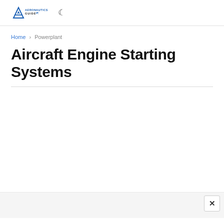Aeronautics Guide [logo] [moon/dark-mode icon]
Home › Powerplant
Aircraft Engine Starting Systems
[Figure (other): Close (×) button for advertisement overlay at bottom of page]